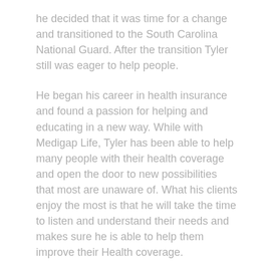he decided that it was time for a change and transitioned to the South Carolina National Guard. After the transition Tyler still was eager to help people.
He began his career in health insurance and found a passion for helping and educating in a new way. While with Medigap Life, Tyler has been able to help many people with their health coverage and open the door to new possibilities that most are unaware of. What his clients enjoy the most is that he will take the time to listen and understand their needs and makes sure he is able to help them improve their Health coverage.
Share this entry